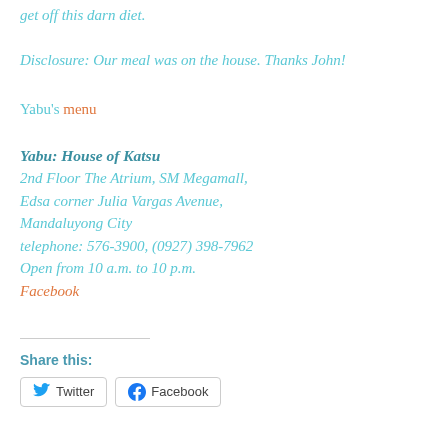get off this darn diet.
Disclosure: Our meal was on the house. Thanks John!
Yabu's menu
Yabu: House of Katsu
2nd Floor The Atrium, SM Megamall,
Edsa corner Julia Vargas Avenue,
Mandaluyong City
telephone: 576-3900, (0927) 398-7962
Open from 10 a.m. to 10 p.m.
Facebook
Share this:
Twitter   Facebook